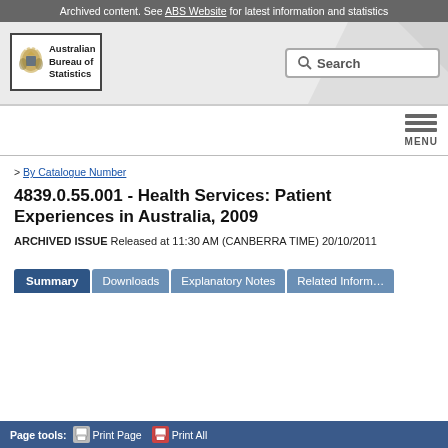Archived content. See ABS Website for latest information and statistics
[Figure (logo): Australian Bureau of Statistics logo with coat of arms and search box]
> By Catalogue Number
4839.0.55.001 - Health Services: Patient Experiences in Australia, 2009
ARCHIVED ISSUE Released at 11:30 AM (CANBERRA TIME) 20/10/2011
Summary | Downloads | Explanatory Notes | Related Information
Page tools: Print Page  Print All